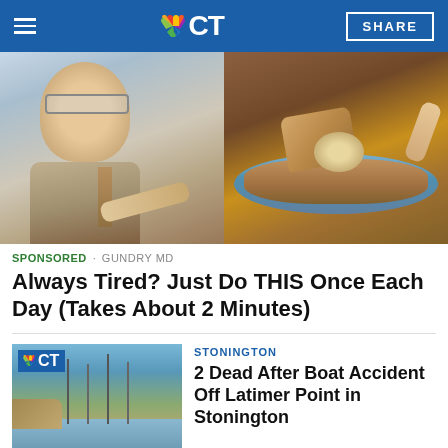NBC CT
[Figure (photo): Left: elderly man in suit and glasses pointing at something. Right: hands handling food items (bread/mushrooms) in a bowl with granular material.]
SPONSORED · GUNDRY MD
Always Tired? Just Do THIS Once Each Day (Takes About 2 Minutes)
[Figure (photo): Marina with sailboats and a blue sky, NBC CT logo overlay in top left corner.]
STONINGTON
2 Dead After Boat Accident Off Latimer Point in Stonington